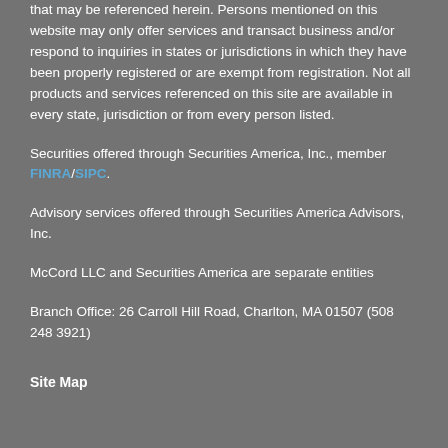that may be referenced herein. Persons mentioned on this website may only offer services and transact business and/or respond to inquiries in states or jurisdictions in which they have been properly registered or are exempt from registration. Not all products and services referenced on this site are available in every state, jurisdiction or from every person listed.
Securities offered through Securities America, Inc., member FINRA/SIPC.
Advisory services offered through Securities America Advisors, Inc.
McCord LLC and Securities America are separate entities
Branch Office: 26 Carroll Hill Road, Charlton, MA 01507 (508 248 3921)
Site Map